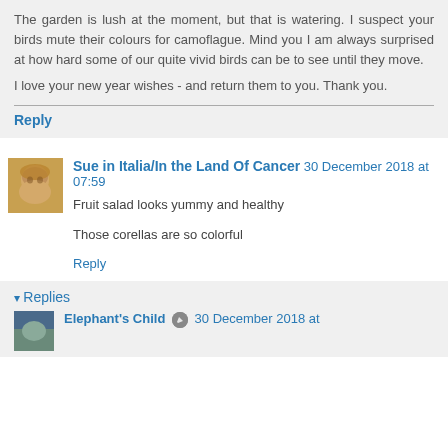The garden is lush at the moment, but that is watering. I suspect your birds mute their colours for camoflague. Mind you I am always surprised at how hard some of our quite vivid birds can be to see until they move.
I love your new year wishes - and return them to you. Thank you.
Reply
Sue in Italia/In the Land Of Cancer  30 December 2018 at 07:59
Fruit salad looks yummy and healthy
Those corellas are so colorful
Reply
Replies
Elephant's Child  30 December 2018 at